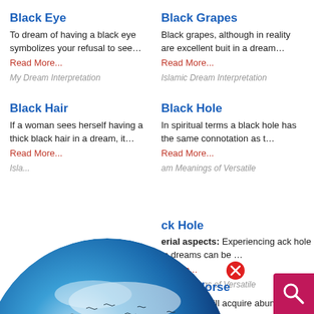Black Eye
To dream of having a black eye symbolizes your refusal to see…
Read More...
My Dream Interpretation
Black Grapes
Black grapes, although in reality are excellent buit in a dream…
Read More...
Islamic Dream Interpretation
Black Hair
If a woman sees herself having a thick black hair in a dream, it…
Read More...
Isla...
Black Hole
In spiritual terms a black hole has the same connotation as t…
Read More...
am Meanings of Versatile
ck Hole
erial aspects: Experiencing ack hole in dreams can be …
d More...
am Meanings of Versatile
Black Horse
The owner will acquire abund wealth and tremendous…
Read More...
[Figure (illustration): Dream Encyclopedia globe logo with sky/clouds background, circular globe image with 'Dream Encyclopedia' text overlay, red close button (X)]
[Figure (illustration): Red search button with magnifying glass icon in bottom right corner]